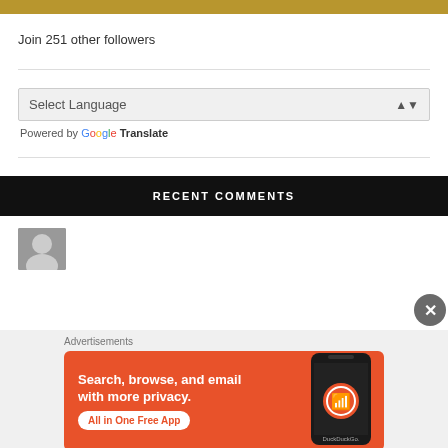[Figure (other): Gold decorative bar at top of page]
Join 251 other followers
Select Language
Powered by Google Translate
RECENT COMMENTS
[Figure (photo): Small avatar photo thumbnail, black and white, partially visible]
[Figure (other): Close button (X) circle overlay]
Advertisements
[Figure (illustration): DuckDuckGo advertisement banner: orange background, text 'Search, browse, and email with more privacy. All in One Free App', with phone mockup showing DuckDuckGo logo]